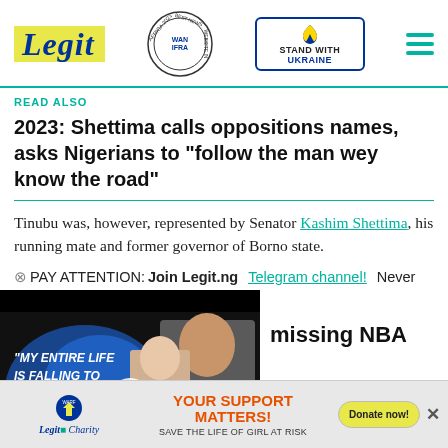Legit | WAN IFRA Best News Website in Africa 2021 | Stand with Ukraine
READ ALSO
2023: Shettima calls oppositions names, asks Nigerians to “follow the man wey know the road”
Tinubu was, however, represented by Senator Kashim Shettima, his running mate and former governor of Borno state.
PAY ATTENTION: Join Legit.ng Telegram channel! Never
[Figure (screenshot): Video thumbnail showing two people (man and woman) with text overlay: MY ENTIRE LIFE IS FALLING TO PIECES. Play button visible. Partially visible NBA text.]
YOUR SUPPORT MATTERS! SAVE THE LIFE OF GIRL AT RISK
Legit Charity | WARF | Donate now!